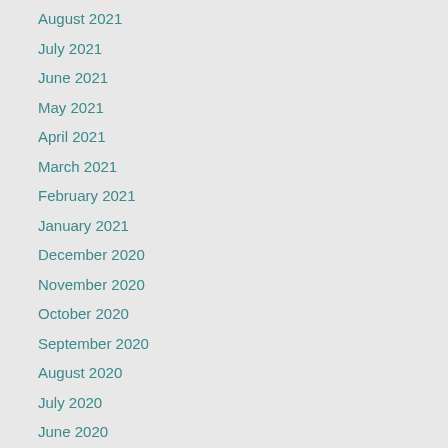August 2021
July 2021
June 2021
May 2021
April 2021
March 2021
February 2021
January 2021
December 2020
November 2020
October 2020
September 2020
August 2020
July 2020
June 2020
July 2019
June 2019
May 2019